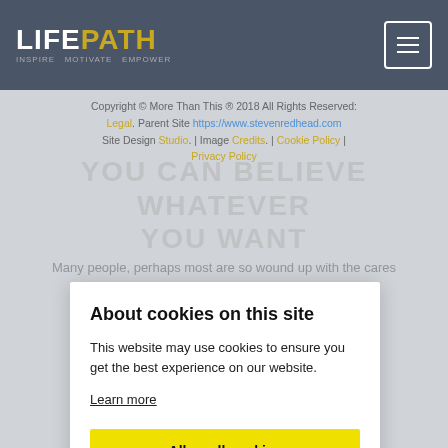LIFEPATH
Copyright © More Than This ® 2018 All Rights Reserved: Legal. Parent Site https://www.stevenredhead.com Site Design Studio. | Image Credits. | Cookie Policy | Privacy Policy
YOU CAN BELIEVE WHATEVER YOU WANT
Many people, perhaps most are so wound up with the cares of the world they never stop to consider the beliefs they have held since childhood.
About cookies on this site
This website may use cookies to ensure you get the best experience on our website.
Learn more
Allow all cookies
Cookie settings